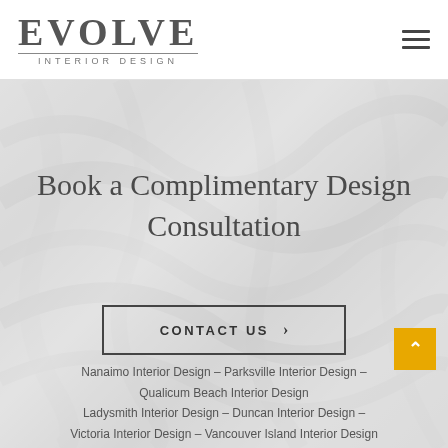[Figure (logo): Evolve Interior Design logo with large serif EVOLVE text, horizontal rule, and INTERIOR DESIGN subtitle in uppercase tracking]
[Figure (other): Hamburger menu icon (three horizontal lines) in top right of header]
[Figure (photo): Light grey marble/paint texture background filling the hero section]
Book a Complimentary Design Consultation
CONTACT US ›
Nanaimo Interior Design – Parksville Interior Design – Qualicum Beach Interior Design
Ladysmith Interior Design – Duncan Interior Design – Victoria Interior Design – Vancouver Island Interior Design
[Figure (other): Gold/amber scroll-to-top button with upward chevron arrow]